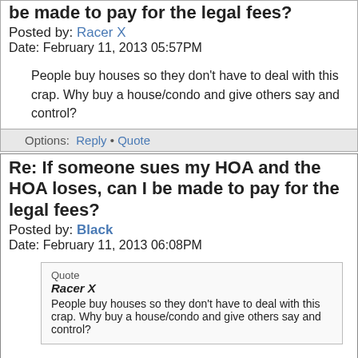Re: If someone sues my HOA and the HOA loses, can I be made to pay for the legal fees?
Posted by: Racer X
Date: February 11, 2013 05:57PM
People buy houses so they don't have to deal with this crap. Why buy a house/condo and give others say and control?
Options:  Reply • Quote
Re: If someone sues my HOA and the HOA loses, can I be made to pay for the legal fees?
Posted by: Black
Date: February 11, 2013 06:08PM
Quote
Racer X
People buy houses so they don't have to deal with this crap. Why buy a house/condo and give others say and control?
The standard counterargument is that you have someone else to worry about upkeep and repairs for you...
(I'm with you though-- never...)
[Figure (photo): A photo showing a chain-link fence with green plants or vines in the background.]